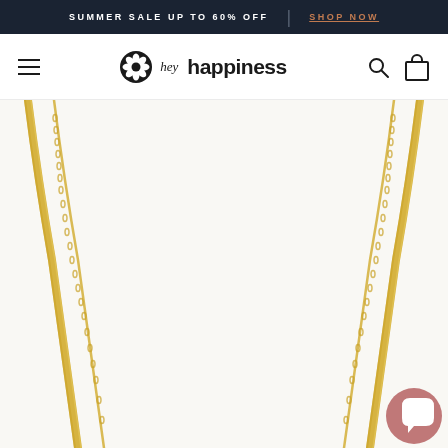SUMMER SALE UP TO 60% OFF | SHOP NOW
[Figure (logo): hey happiness logo with stylized shell/flower icon]
[Figure (photo): Close-up product photo of layered gold necklaces (herringbone chain and delicate link chain) against white background]